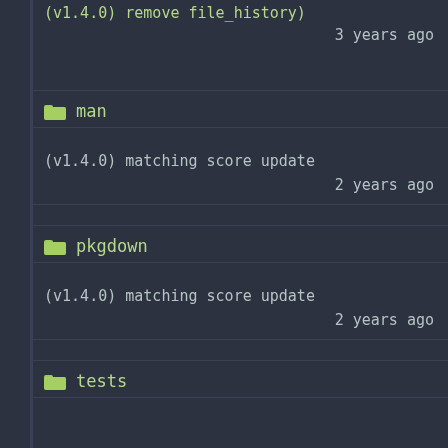(v1.4.0) remove file_history)
3 years ago
man
(v1.4.0) matching score update
2 years ago
pkgdown
(v1.4.0) matching score update
2 years ago
tests
(v1.4.0) matching score update
2 years ago
vignettes